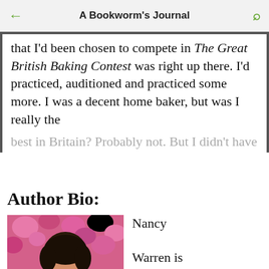A Bookworm's Journal
that I'd been chosen to compete in The Great British Baking Contest was right up there. I'd practiced, auditioned and practiced some more. I was a decent home baker, but was I really the best in Britain? Probably not. But I didn't have to
Author Bio:
[Figure (photo): Photo of Nancy Warren, a person with dark hair in front of pink flowers]
Nancy Warren is